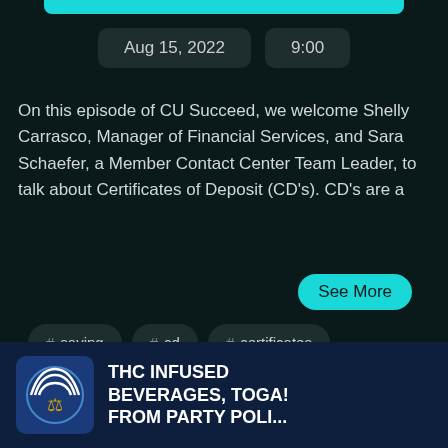Aug 15, 2022   9:00
On this episode of CU Succeed, we welcome Shelly Carrasco, Manager of Financial Services, and Sara Schaefer, a Member Contact Center Team Leader, to talk about Certificates of Deposit (CD's). CD's are a
See More
# saving
# cd
# certificates
# financial services
# deposit
sara schaefer
# deposit cd
THC INFUSED BEVERAGES, TOGA! FROM PARTY POLI...